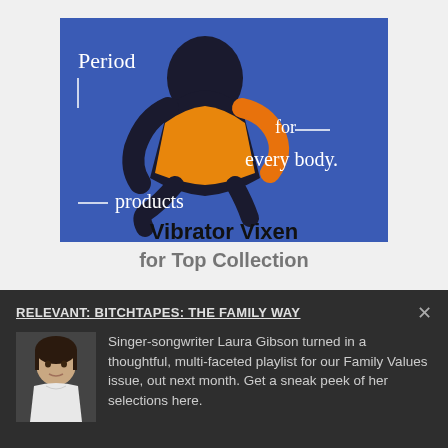[Figure (photo): Advertisement banner showing a Black woman in a yellow t-shirt against a blue background with white text reading 'Period — for — every body. — products']
Vibrator Vixen
for Top Collection
RELEVANT: BITCHTAPES: THE FAMILY WAY
[Figure (photo): Small portrait photo of singer-songwriter Laura Gibson, a woman with short dark hair wearing a white top]
Singer-songwriter Laura Gibson turned in a thoughtful, multi-faceted playlist for our Family Values issue, out next month. Get a sneak peek of her selections here.